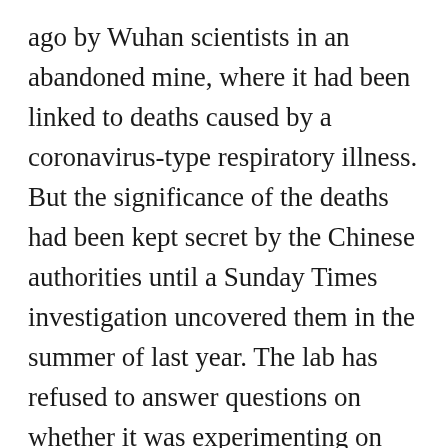ago by Wuhan scientists in an abandoned mine, where it had been linked to deaths caused by a coronavirus-type respiratory illness. But the significance of the deaths had been kept secret by the Chinese authorities until a Sunday Times investigation uncovered them in the summer of last year. The lab has refused to answer questions on whether it was experimenting on the virus in the run-up to the pandemic. Indeed China had been reluctant to address many questions about the pandemic's origins since January 2020, other than to issue blanket denials. It did not want the ignominy of being found